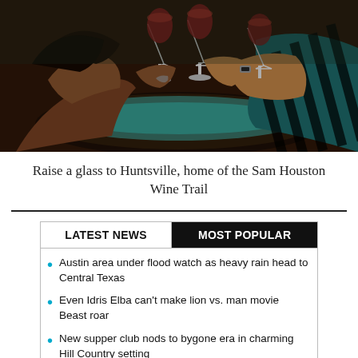[Figure (photo): People raising wine glasses in a toast at a table outdoors, hands and glasses visible close-up]
Raise a glass to Huntsville, home of the Sam Houston Wine Trail
LATEST NEWS | MOST POPULAR
Austin area under flood watch as heavy rain head to Central Texas
Even Idris Elba can't make lion vs. man movie Beast roar
New supper club nods to bygone era in charming Hill Country setting
The Gonzales Crystal Theatre honors the past while training the future